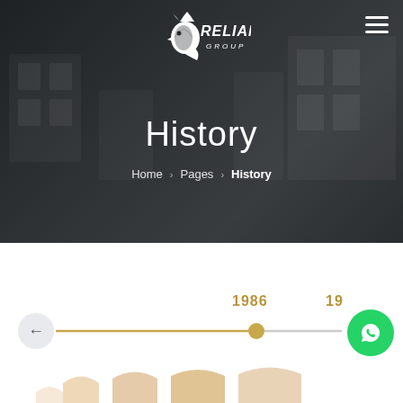[Figure (logo): Relian Group logo — crowned bird silhouette with RELIAN GROUP text in white]
History
Home > Pages > History
[Figure (infographic): Horizontal timeline with golden line ending at a dot at year 1986, partially showing another year to the right. A back arrow button on the left and a WhatsApp floating button on the right.]
[Figure (illustration): Partial decorative arch/building shapes at the bottom in a warm orange-beige color]